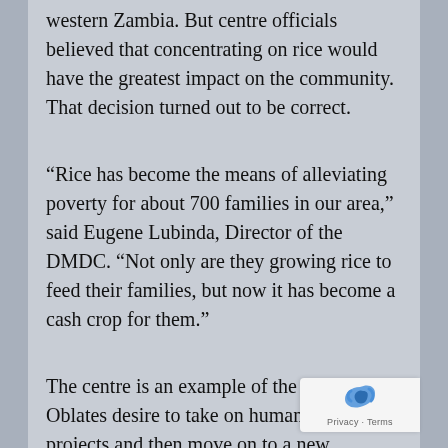western Zambia.  But centre officials believed that concentrating on rice would have the greatest impact on the community.  That decision turned out to be correct.
“Rice has become the means of alleviating poverty for about 700 families in our area,” said Eugene Lubinda, Director of the DMDC. “Not only are they growing rice to feed their families, but now it has become a cash crop for them.”
The centre is an example of the Missionary Oblates desire to take on humanitarian projects and then move on to a new challenge once the projects become self-sustaining.